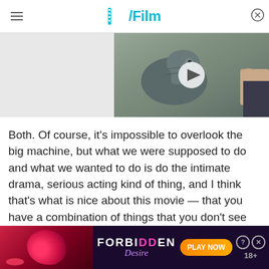/Film
[Figure (screenshot): Video thumbnail showing a dinosaur-like creature with a person, with a play button overlay. Right portion of header area.]
Both. Of course, it's impossible to overlook the big machine, but what we were supposed to do and what we wanted to do is do the intimate drama, serious acting kind of thing, and I think that's what is nice about this movie — that you have a combination of things that you don't see that often in hug
[Figure (screenshot): Advertisement banner: FORBIDDEN Desire with PLAY NOW button and 18+ rating]